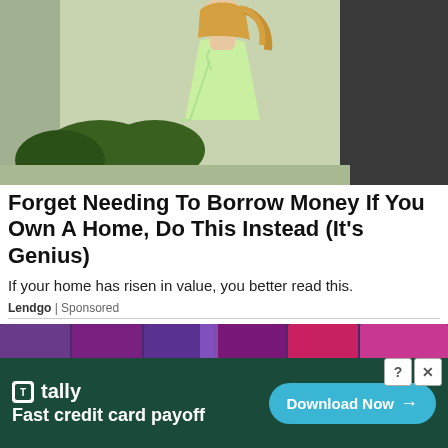[Figure (photo): Woman in light green halter dress standing outdoors near bushes and a doorway]
Forget Needing To Borrow Money If You Own A Home, Do This Instead (It's Genius)
If your home has risen in value, you better read this.
Lendgo | Sponsored
[Figure (photo): Guitar effect pedals in various colors (orange, black, purple, green, yellow) lined up against a colorful acoustic foam background]
[Figure (screenshot): Tally app advertisement banner: tally logo, Fast credit card payoff, Download Now button]